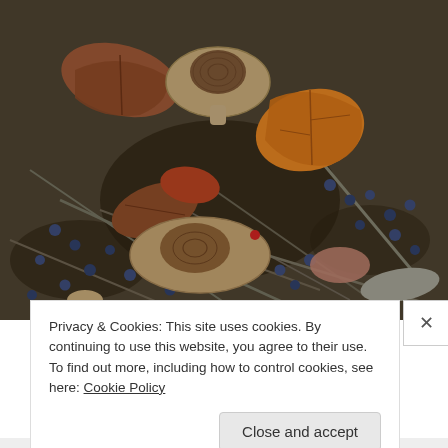[Figure (photo): Close-up photograph of forest floor showing small blue-black berries (likely sloe or wild berries), fallen autumn leaves (orange, brown, red), mushrooms/fungi (beige, rounded caps), twigs, grass stems, and dark soil. A small red object is visible near center.]
Privacy & Cookies: This site uses cookies. By continuing to use this website, you agree to their use.
To find out more, including how to control cookies, see here: Cookie Policy
Close and accept